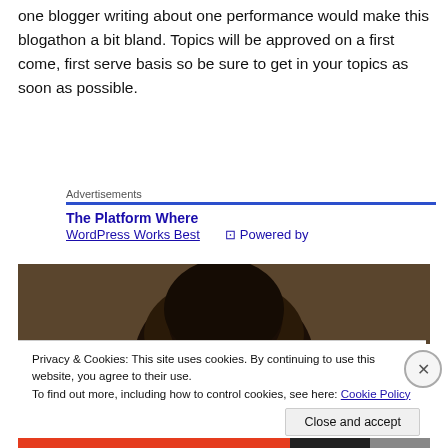one blogger writing about one performance would make this blogathon a bit bland. Topics will be approved on a first come, first serve basis so be sure to get in your topics as soon as possible.
Advertisements
The Platform Where WordPress Works Best
[Figure (photo): Dark image showing the top of a person's head with curly dark hair against a dark background.]
Privacy & Cookies: This site uses cookies. By continuing to use this website, you agree to their use.
To find out more, including how to control cookies, see here: Cookie Policy
Close and accept